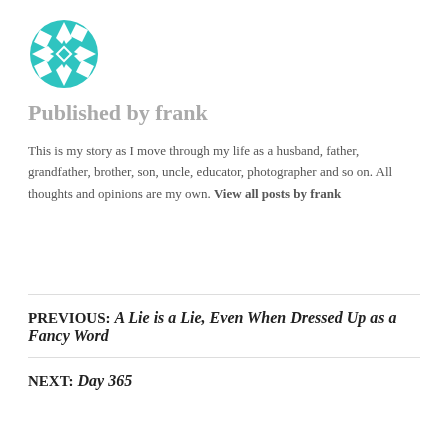[Figure (logo): Teal/cyan geometric snowflake/mandala logo icon]
Published by frank
This is my story as I move through my life as a husband, father, grandfather, brother, son, uncle, educator, photographer and so on. All thoughts and opinions are my own. View all posts by frank
PREVIOUS: A Lie is a Lie, Even When Dressed Up as a Fancy Word
NEXT: Day 365